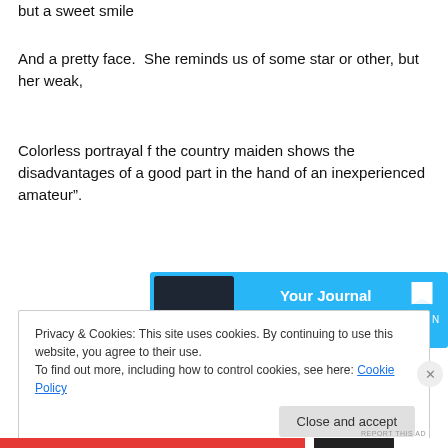but a sweet smile
And a pretty face.  She reminds us of some star or other, but her weak,
Colorless portrayal f the country maiden shows the disadvantages of a good part in the hand of an inexperienced amateur”.
[Figure (other): Advertisement banner for Day One journal app. Blue background with text 'Your Journal for life' and DAYONE logo with bookmark icon.]
Privacy & Cookies: This site uses cookies. By continuing to use this website, you agree to their use.
To find out more, including how to control cookies, see here: Cookie Policy